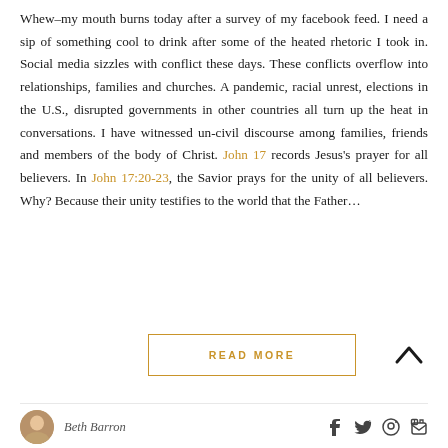Whew–my mouth burns today after a survey of my facebook feed. I need a sip of something cool to drink after some of the heated rhetoric I took in. Social media sizzles with conflict these days. These conflicts overflow into relationships, families and churches. A pandemic, racial unrest, elections in the U.S., disrupted governments in other countries all turn up the heat in conversations. I have witnessed un-civil discourse among families, friends and members of the body of Christ. John 17 records Jesus's prayer for all believers. In John 17:20-23, the Savior prays for the unity of all believers. Why? Because their unity testifies to the world that the Father...
READ MORE
Beth Barron